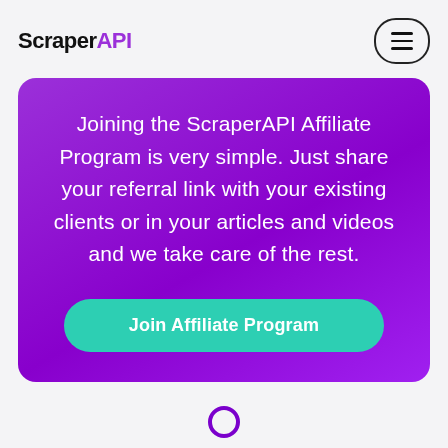ScraperAPI
Joining the ScraperAPI Affiliate Program is very simple. Just share your referral link with your existing clients or in your articles and videos and we take care of the rest.
Join Affiliate Program
[Figure (illustration): Person/user icon outline in purple, showing head circle and shoulders, partially visible at bottom of page]